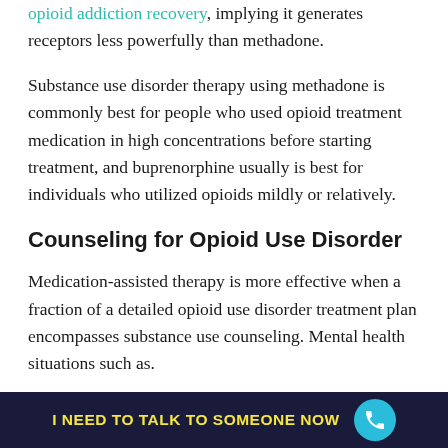opioid addiction recovery, implying it generates receptors less powerfully than methadone.
Substance use disorder therapy using methadone is commonly best for people who used opioid treatment medication in high concentrations before starting treatment, and buprenorphine usually is best for individuals who utilized opioids mildly or relatively.
Counseling for Opioid Use Disorder
Medication-assisted therapy is more effective when a fraction of a detailed opioid use disorder treatment plan encompasses substance use counseling. Mental health situations such as.
I NEED TO TALK TO SOMEONE NOW